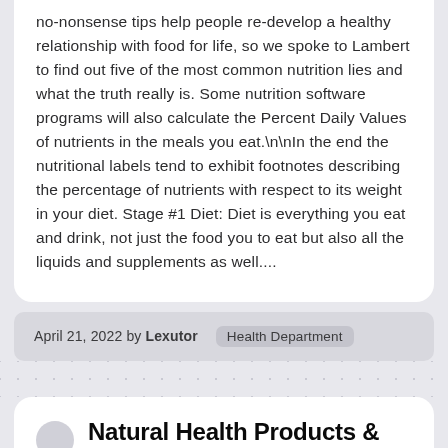no-nonsense tips help people re-develop a healthy relationship with food for life, so we spoke to Lambert to find out five of the most common nutrition lies and what the truth really is. Some nutrition software programs will also calculate the Percent Daily Values of nutrients in the meals you eat.\n\nIn the end the nutritional labels tend to exhibit footnotes describing the percentage of nutrients with respect to its weight in your diet. Stage #1 Diet: Diet is everything you eat and drink, not just the food you to eat but also all the liquids and supplements as well....
April 21, 2022 by Lexutor   Health Department
Natural Health Products &